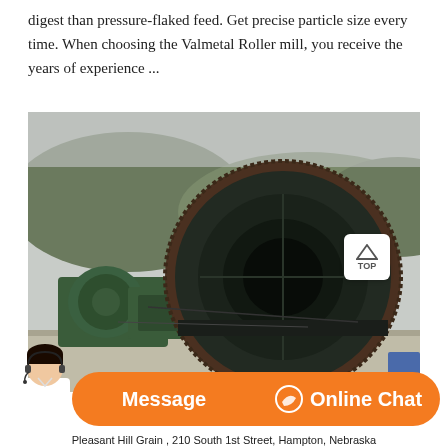digest than pressure-flaked feed. Get precise particle size every time. When choosing the Valmetal Roller mill, you receive the years of experience ...
[Figure (photo): Outdoor industrial machinery — a large rotating drum mill with a prominent ring gear on the right, and a green motor/gearbox assembly on the left, mounted on a concrete base with hills visible in the background.]
Pleasant Hill Grain , 210 South 1st Street, Hampton, Nebraska